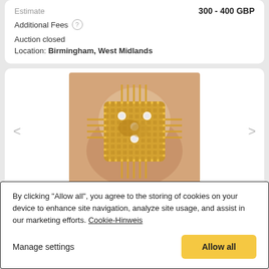Estimate   300 - 400 GBP
Additional Fees
Auction closed
Location: Birmingham, West Midlands
[Figure (photo): Gold ring with diamond accents held between fingers, intricate lattice/spike design in yellow gold]
By clicking "Allow all", you agree to the storing of cookies on your device to enhance site navigation, analyze site usage, and assist in our marketing efforts. Cookie-Hinweis
Manage settings
Allow all